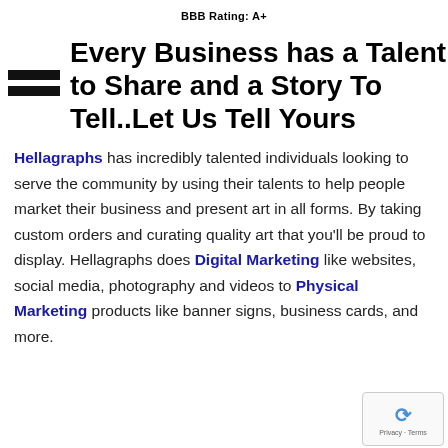BBB Rating: A+
Every Business has a Talent to Share and a Story To Tell..Let Us Tell Yours
Hellagraphs has incredibly talented individuals looking to serve the community by using their talents to help people market their business and present art in all forms. By taking custom orders and curating quality art that you'll be proud to display. Hellagraphs does Digital Marketing like websites, social media, photography and videos to Physical Marketing products like banner signs, business cards, and more.